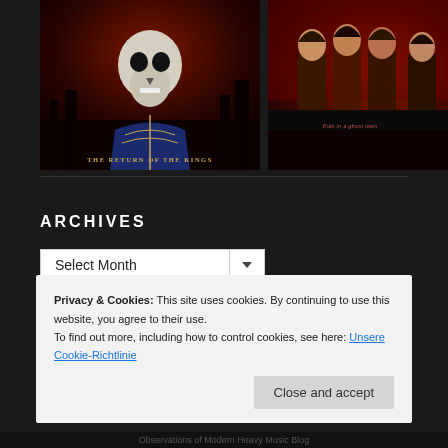[Figure (illustration): Album cover: skull in military jacket with title 'THE RETURN OF THE KINGS', dark red city background]
[Figure (photo): Band photo: four long-haired musicians against red sky/cityscape background]
ARCHIVES
Select Month (dropdown)
Privacy & Cookies: This site uses cookies. By continuing to use this website, you agree to their use.
To find out more, including how to control cookies, see here: Unsere Cookie-Richtlinie
Close and accept